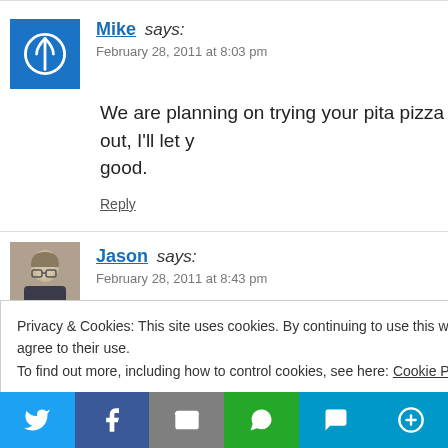Mike says: February 28, 2011 at 8:03 pm
We are planning on trying your pita pizza out, I'll let you know how it goes. I hope it's good.
Reply
Jason says: February 28, 2011 at 8:43 pm
Looks great. We're about to try our hand at turning our...
Privacy & Cookies: This site uses cookies. By continuing to use this website, you agree to their use. To find out more, including how to control cookies, see here: Cookie Policy